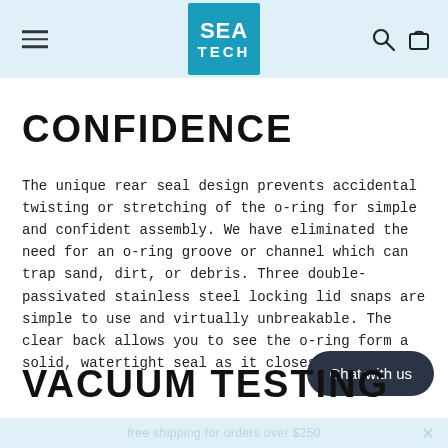SEA TECH
CONFIDENCE
The unique rear seal design prevents accidental twisting or stretching of the o-ring for simple and confident assembly. We have eliminated the need for an o-ring groove or channel which can trap sand, dirt, or debris. Three double-passivated stainless steel locking lid snaps are simple to use and virtually unbreakable. The clear back allows you to see the o-ring form a solid, watertight seal as it closes.
VACUUM TESTING
Chat with us
free shipping for orders over $250